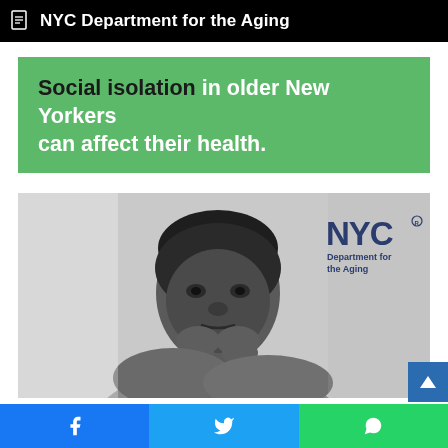NYC Department for the Aging
Social isolation in older New Yorkers can affect their health.
[Figure (photo): Black and white photograph of an elderly African American woman with short gray hair, resting her chin on her hands, looking contemplatively to the side. In the upper right corner of the photo is the NYC Department for the Aging logo.]
Facebook share | Twitter share | WhatsApp share